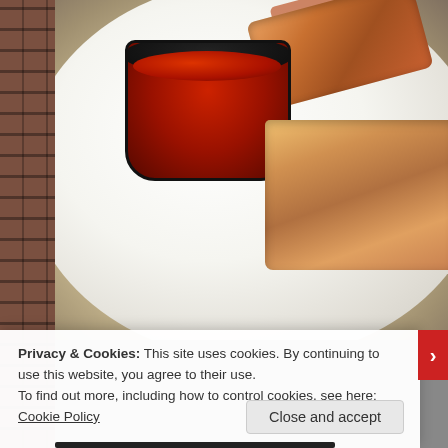[Figure (photo): Food photograph showing a white plate with egg rolls (some coated in red/orange sauce) and a small black dipping cup filled with red seasoning/spice. Background shows a brick wall on the left side.]
Privacy & Cookies: This site uses cookies. By continuing to use this website, you agree to their use.
To find out more, including how to control cookies, see here: Cookie Policy
Close and accept